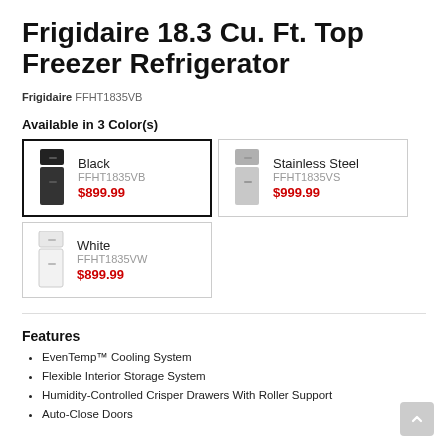Frigidaire 18.3 Cu. Ft. Top Freezer Refrigerator
Frigidaire FFHT1835VB
Available in 3 Color(s)
[Figure (other): Color variant cards showing Black (FFHT1835VB, $899.99, selected), Stainless Steel (FFHT1835VS, $999.99), and White (FFHT1835VW, $899.99) refrigerator options]
Features
EvenTemp™ Cooling System
Flexible Interior Storage System
Humidity-Controlled Crisper Drawers With Roller Support
Auto-Close Doors